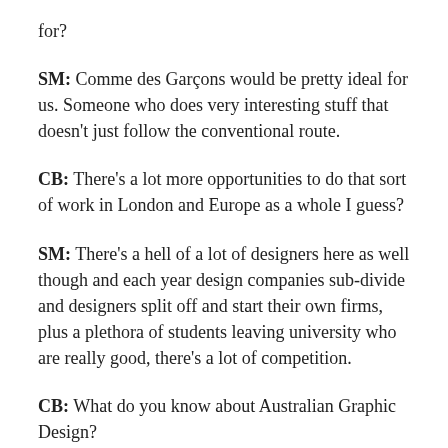for?
SM: Comme des Garçons would be pretty ideal for us. Someone who does very interesting stuff that doesn't just follow the conventional route.
CB: There's a lot more opportunities to do that sort of work in London and Europe as a whole I guess?
SM: There's a hell of a lot of designers here as well though and each year design companies sub-divide and designers split off and start their own firms, plus a plethora of students leaving university who are really good, there's a lot of competition.
CB: What do you know about Australian Graphic Design?
SM: I've seen bits. I'm not good with names, so I couldn't name anyone in particular, but I've seen a few magazines